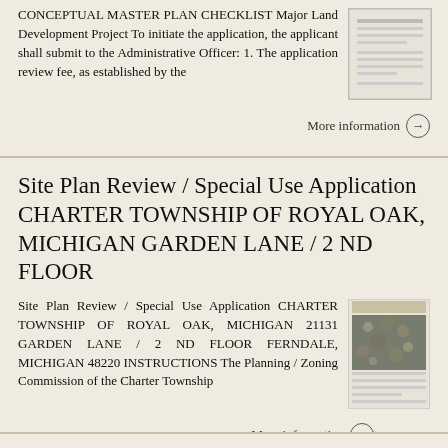CONCEPTUAL MASTER PLAN CHECKLIST Major Land Development Project To initiate the application, the applicant shall submit to the Administrative Officer: 1. The application review fee, as established by the
More information →
Site Plan Review / Special Use Application CHARTER TOWNSHIP OF ROYAL OAK, MICHIGAN GARDEN LANE / 2 ND FLOOR
Site Plan Review / Special Use Application CHARTER TOWNSHIP OF ROYAL OAK, MICHIGAN 21131 GARDEN LANE / 2 ND FLOOR FERNDALE, MICHIGAN 48220 INSTRUCTIONS The Planning / Zoning Commission of the Charter Township
More information →